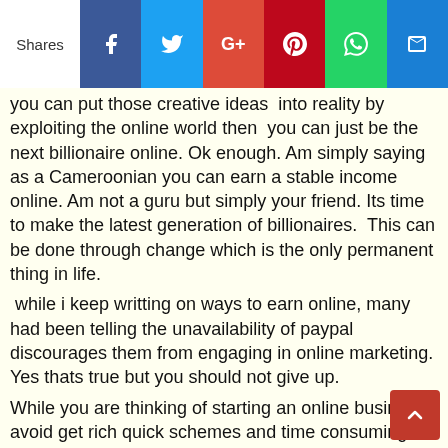Shares [Facebook] [Twitter] [Google+] [Pinterest] [WhatsApp] [Email]
you can put those creative ideas  into reality by exploiting the online world then  you can just be the next billionaire online. Ok enough. Am simply saying as a Cameroonian you can earn a stable income online. Am not a guru but simply your friend. Its time to make the latest generation of billionaires.  This can be done through change which is the only permanent thing in life.
 while i keep writting on ways to earn online, many had been telling the unavailability of paypal discourages them from engaging in online marketing. Yes thats true but you should not give up.
While you are thinking of starting an online business, avoid get rich quick schemes and time consuming programs like paid -to -click programs  paid to read . Here are some ways that can lead to money into your bank account directly OR enable you catchout freely at